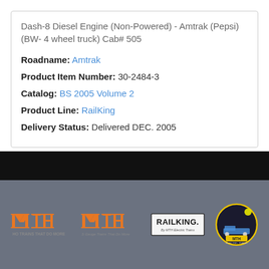Dash-8 Diesel Engine (Non-Powered) - Amtrak (Pepsi) (BW- 4 wheel truck) Cab# 505
Roadname: Amtrak
Product Item Number: 30-2484-3
Catalog: BS 2005 Volume 2
Product Line: RailKing
Delivery Status: Delivered DEC. 2005
Generate ZIP file with product images
[Figure (logo): MTH Electric Trains logos and RailKing logo in footer: HO Trains That Do More, S Gauge Trains That Do More, RailKing By MTH Electric Trains, and MTH circular badge]